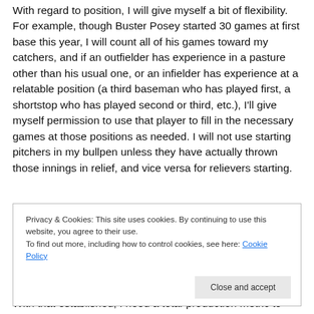With regard to position, I will give myself a bit of flexibility. For example, though Buster Posey started 30 games at first base this year, I will count all of his games toward my catchers, and if an outfielder has experience in a pasture other than his usual one, or an infielder has experience at a relatable position (a third baseman who has played first, a shortstop who has played second or third, etc.), I'll give myself permission to use that player to fill in the necessary games at those positions as needed. I will not use starting pitchers in my bullpen unless they have actually thrown those innings in relief, and vice versa for relievers starting.
Privacy & Cookies: This site uses cookies. By continuing to use this website, you agree to their use. To find out more, including how to control cookies, see here: Cookie Policy
Close and accept
With that established, I need a total-production metric to